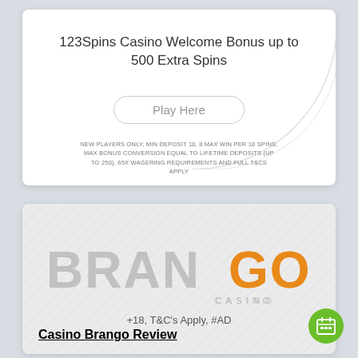[Figure (infographic): 123Spins Casino Welcome Bonus card with Play Here button and terms]
123Spins Casino Welcome Bonus up to 500 Extra Spins
Play Here
NEW PLAYERS ONLY, MIN DEPOSIT 10, 8 MAX WIN PER 10 SPINS, MAX BONUS CONVERSION EQUAL TO LIFETIME DEPOSITS (UP TO 250), 65X WAGERING REQUIREMENTS AND FULL T&CS APPLY
[Figure (logo): BranGo Casino logo with silver BRAN and orange GO text on diagonal striped background]
+18, T&C's Apply, #AD
Casino Brango Review